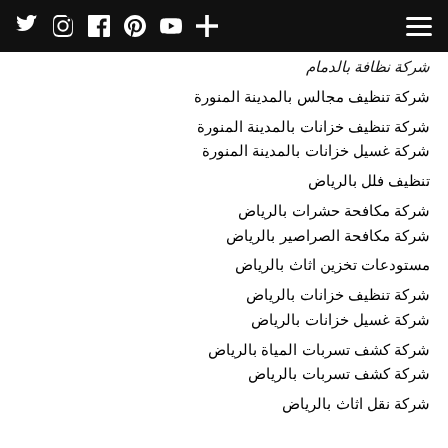Social media icons navigation bar
شركة نظافة بالدمام
شركة تنظيف مجالس بالمدينة المنورة
شركة تنظيف خزانات بالمدينة المنورة
شركة غسيل خزانات بالمدينة المنورة
تنظيف فلل بالرياض
شركة مكافحة حشرات بالرياض
شركة مكافحة الصراصير بالرياض
مستودعات تخزين اثاث بالرياض
شركة تنظيف خزانات بالرياض
شركة غسيل خزانات بالرياض
شركة كشف تسربات المياة بالرياض
شركة كشف تسربات بالرياض
شركة نقل اثاث بالرياض